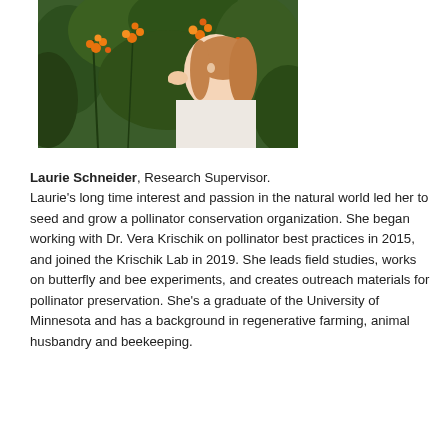[Figure (photo): A woman with auburn hair wearing a white top, examining orange flowering plants (likely milkweed or lantana) in a garden setting.]
Laurie Schneider, Research Supervisor. Laurie's long time interest and passion in the natural world led her to seed and grow a pollinator conservation organization. She began working with Dr. Vera Krischik on pollinator best practices in 2015, and joined the Krischik Lab in 2019. She leads field studies, works on butterfly and bee experiments, and creates outreach materials for pollinator preservation. She's a graduate of the University of Minnesota and has a background in regenerative farming, animal husbandry and beekeeping.